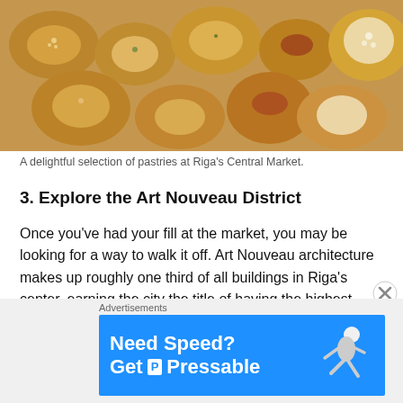[Figure (photo): A close-up photo of an assortment of pastries and baked goods at Riga's Central Market — various scrolls, rolls, filled buns, and sugar-dusted pastries.]
A delightful selection of pastries at Riga's Central Market.
3. Explore the Art Nouveau District
Once you've had your fill at the market, you may be looking for a way to walk it off. Art Nouveau architecture makes up roughly one third of all buildings in Riga's center, earning the city the title of having the highest concentration of Art Nouveau architecture anywhere in the world. Take a stroll down Alberta Street (and surrounding areas) to take in the best of the elaborate, flamboyant naked maidens, floral motifs and funky gargoyles that adorn almost every exterior. Can't get enough?
Advertisements
[Figure (screenshot): Advertisement banner for Pressable web hosting: blue background with white bold text reading 'Need Speed? Get Pressable' with a running figure illustration on the right.]